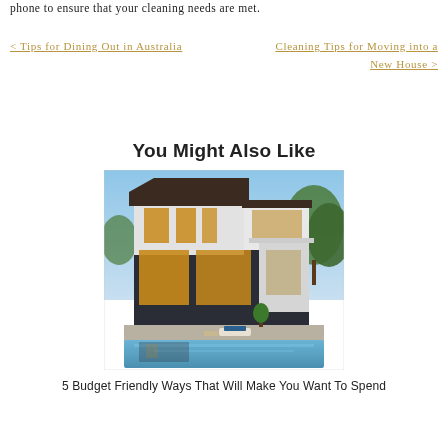phone to ensure that your cleaning needs are met.
< Tips for Dining Out in Australia
Cleaning Tips for Moving into a New House >
You Might Also Like
[Figure (photo): Modern two-story house with dark grey and white exterior, large windows glowing warmly, a pool in the foreground, trees in the background, blue sky.]
5 Budget Friendly Ways That Will Make You Want To Spend